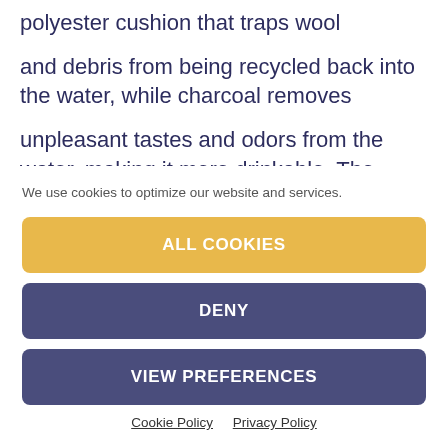polyester cushion that traps wool and debris from being recycled back into the water, while charcoal removes unpleasant tastes and odors from the water, making it more drinkable. The filters are safe for use with your pet's drinking water. The organic carbon used
We use cookies to optimize our website and services.
ALL COOKIES
DENY
VIEW PREFERENCES
Cookie Policy   Privacy Policy